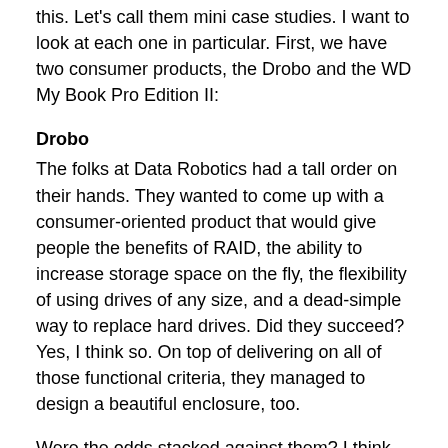this. Let's call them mini case studies. I want to look at each one in particular. First, we have two consumer products, the Drobo and the WD My Book Pro Edition II:
Drobo
The folks at Data Robotics had a tall order on their hands. They wanted to come up with a consumer-oriented product that would give people the benefits of RAID, the ability to increase storage space on the fly, the flexibility of using drives of any size, and a dead-simple way to replace hard drives. Did they succeed? Yes, I think so. On top of delivering on all of those functional criteria, they managed to design a beautiful enclosure, too.
Were the odds stacked against them? I think they were, and while people are enthralled with the product once they begin to use it, there are a lot of questions they need to